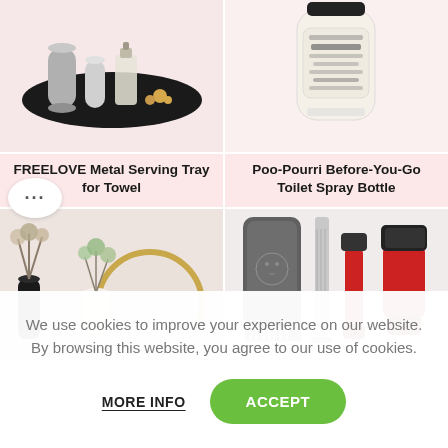[Figure (photo): FREELOVE Metal Serving Tray with perfume bottles and accessories on black tray]
[Figure (photo): Poo-Pourri Before-You-Go Toilet Spray Bottle with decorative label]
FREELOVE Metal Serving Tray for Towel
Poo-Pourri Before-You-Go Toilet Spray Bottle
[Figure (photo): Home decor scene with dried flowers in vases and round mirror]
[Figure (photo): Pet grooming set with clippers, comb, and slicker brush with red handles]
We use cookies to improve your experience on our website. By browsing this website, you agree to our use of cookies.
MORE INFO
ACCEPT